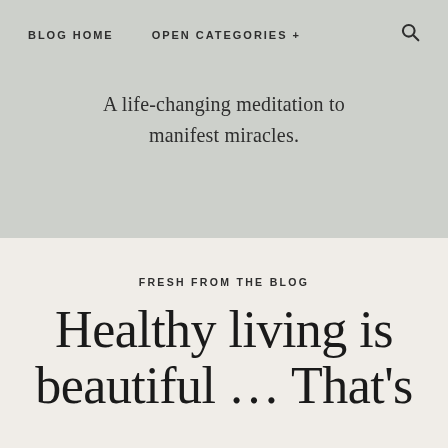BLOG HOME    OPEN CATEGORIES +    🔍
A life-changing meditation to manifest miracles.
FRESH FROM THE BLOG
Healthy living is beautiful … That's